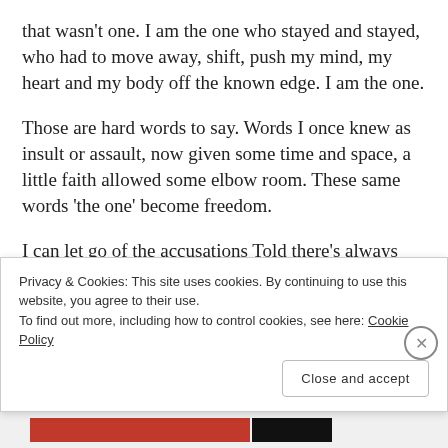that wasn't one. I am the one who stayed and stayed, who had to move away, shift, push my mind, my heart and my body off the known edge. I am the one.
Those are hard words to say. Words I once knew as insult or assault, now given some time and space, a little faith allowed some elbow room. These same words ‘the one’ become freedom.
I can let go of the accusations Told there’s always ‘the one’ Oh yes, always the one who… fill in any
Privacy & Cookies: This site uses cookies. By continuing to use this website, you agree to their use.
To find out more, including how to control cookies, see here: Cookie Policy
Close and accept